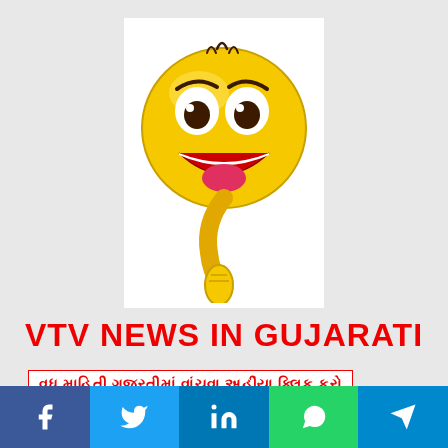[Figure (illustration): Cartoon smiley emoji with big eyes, open mouth laughing, and hand pointing up, on white background]
VTV NEWS IN GUJARATI
વધુ માહિતી ગુજરતીમાં વાંચવા અહીંયા ક્લિક કરો
[Figure (infographic): Social media bar with Facebook, Twitter, LinkedIn, WhatsApp, Telegram icons]